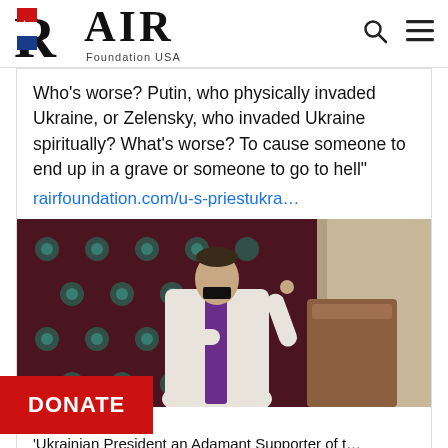RAIR Foundation USA
Who's worse? Putin, who physically invaded Ukraine, or Zelensky, who invaded Ukraine spiritually? What's worse? To cause someone to end up in a grave or someone to go to hell"
rairfoundation.com/u-s-priestukra…
[Figure (photo): A priest in white vestments with a purple stole standing at a pulpit, gesturing with one hand. Behind him is a dark red/maroon tapestry with decorative patterns and a stone church interior.]
rairfoundation.com
'Ukrainian President an Adamant Supporter of t…